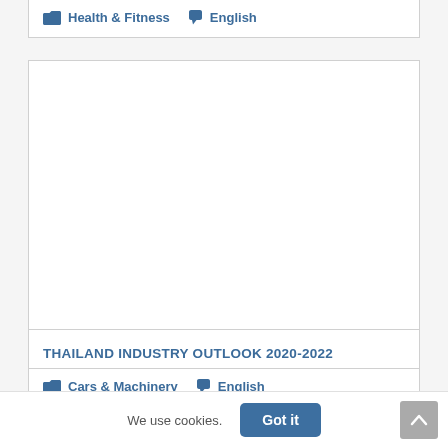Health & Fitness   English
[Figure (other): Empty white content area placeholder within a bordered card]
THAILAND INDUSTRY OUTLOOK 2020-2022
Cars & Machinery   English
We use cookies.
Got it